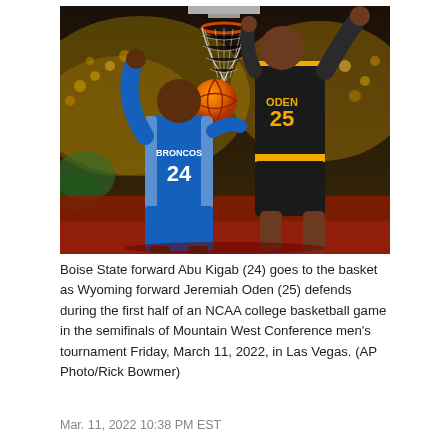[Figure (photo): Basketball game photo: Boise State forward Abu Kigab (#24) in blue uniform drives to the basket while Wyoming forward Jeremiah Oden (#25) in black and gold uniform defends. An orange basketball is visible near the hoop. Arena crowd visible in background.]
Boise State forward Abu Kigab (24) goes to the basket as Wyoming forward Jeremiah Oden (25) defends during the first half of an NCAA college basketball game in the semifinals of Mountain West Conference men's tournament Friday, March 11, 2022, in Las Vegas. (AP Photo/Rick Bowmer)
Mar. 11, 2022 10:38 PM EST